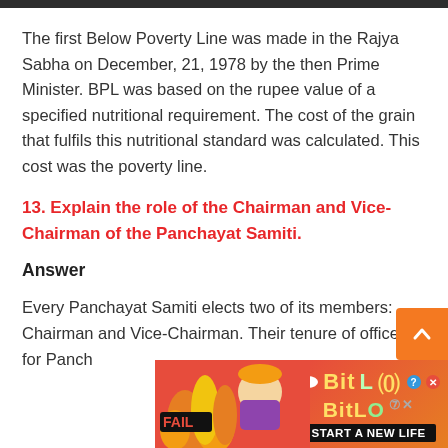The first Below Poverty Line was made in the Rajya Sabha on December, 21, 1978 by the then Prime Minister. BPL was based on the rupee value of a specified nutritional requirement. The cost of the grain that fulfils this nutritional standard was calculated. This cost was the poverty line.
13. Explain the role of the Chairman and Vice-Chairman of the Panchayat Samiti.
Answer
Every Panchayat Samiti elects two of its members: Chairman and Vice-Chairman. Their tenure of office is for Panch...
[Figure (screenshot): Advertisement banner for BitLife game — Start a New Life]